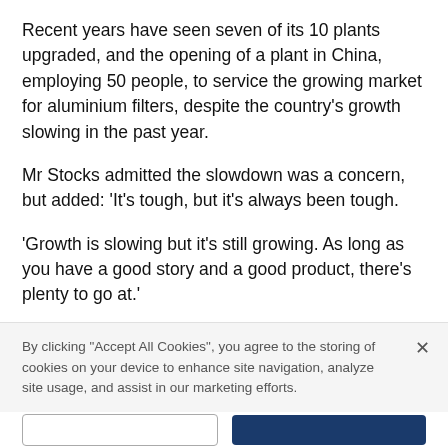Recent years have seen seven of its 10 plants upgraded, and the opening of a plant in China, employing 50 people, to service the growing market for aluminium filters, despite the country's growth slowing in the past year.
Mr Stocks admitted the slowdown was a concern, but added: 'It's tough, but it's always been tough.
'Growth is slowing but it's still growing. As long as you have a good story and a good product, there's plenty to go at.'
Porvair acquired TEM Filter Company in December,
By clicking "Accept All Cookies", you agree to the storing of cookies on your device to enhance site navigation, analyze site usage, and assist in our marketing efforts.